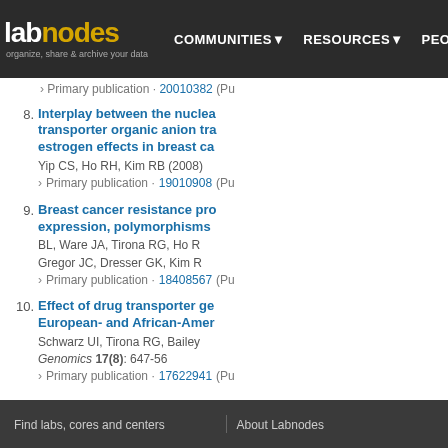labnodes | organize, share & archive your data | COMMUNITIES | RESOURCES | PEOPLE
Primary publication · 20010382 (Pu...
8. Interplay between the nuclea... transporter organic anion tra... estrogen effects in breast ca... Yip CS, Ho RH, Kim RB (2008) › Primary publication · 19010908 (Pu...
9. Breast cancer resistance pro... expression, polymorphisms... BL, Ware JA, Tirona RG, Ho R... Gregor JC, Dresser GK, Kim R... › Primary publication · 18408567 (Pu...
10. Effect of drug transporter ge... European- and African-Amer... Schwarz UI, Tirona RG, Bailey... Genomics 17(8): 647-56 › Primary publication · 17622941 (Pu...
Find labs, cores and centers | About Labnodes